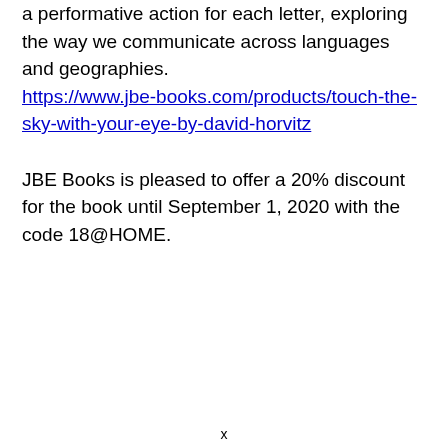a performative action for each letter, exploring the way we communicate across languages and geographies. https://www.jbe-books.com/products/touch-the-sky-with-your-eye-by-david-horvitz
JBE Books is pleased to offer a 20% discount for the book until September 1, 2020 with the code 18@HOME.
x